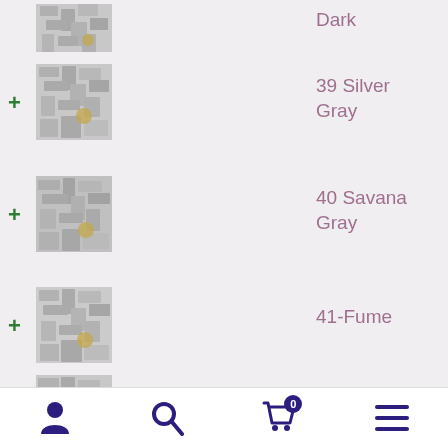[Figure (photo): Partial product image of stone/mosaic tiles at top]
Dark
[Figure (photo): Product image of silver-gray stone/mosaic tiles with coin for scale]
39 Silver Gray
[Figure (photo): Product image of savana gray stone/mosaic tiles with coin for scale]
40 Savana Gray
[Figure (photo): Product image of fume stone/mosaic tiles with coin for scale]
41-Fume
[Figure (photo): Product image of Supren stone/mosaic tiles with coin for scale]
42-Supren